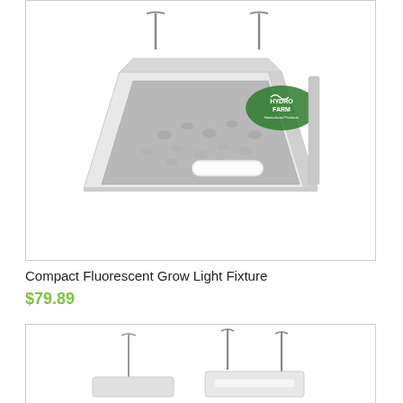[Figure (photo): Hydrofarm branded compact fluorescent grow light fixture, white metal hood with reflective interior, hanging hooks, seen from a diagonal angle showing the green Hydrofarm logo on the side]
Compact Fluorescent Grow Light Fixture
$79.89
[Figure (photo): Partially visible grow light fixture at bottom of page, white and silver, with hanging hooks visible, similar style to the item above]